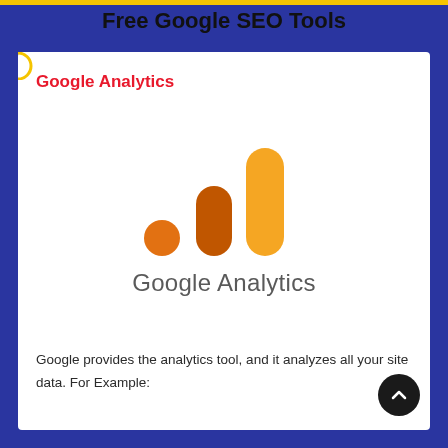Free Google SEO Tools
Google Analytics
[Figure (logo): Google Analytics logo: three ascending bar chart icons in orange and yellow-orange gradient, with the text 'Google Analytics' in grey below]
Google provides the analytics tool, and it analyzes all your site data. For Example: